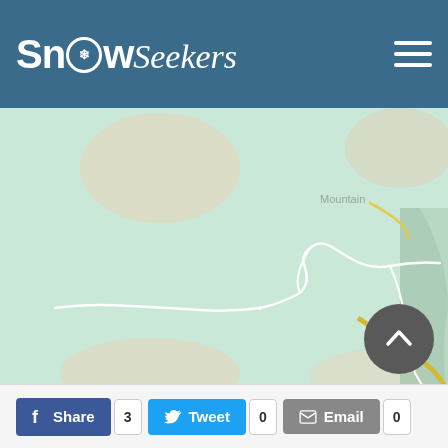SnowSeekers
[Figure (map): Google Maps style topographic map showing mountain terrain with white trail/road paths on a mint green background, with beige terrain features in corners and a yellow road in the bottom right corner.]
See Larger Map/Get Directions (Google Maps)
Share 3  Tweet 0  Email 0